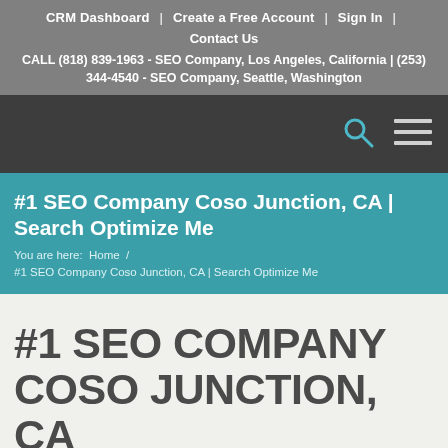CRM Dashboard | Create a Free Account | Sign In | Contact Us
CALL (818) 839-1963 - SEO Company, Los Angeles, California | (253) 344-4540 - SEO Company, Seattle, Washington
[Figure (other): Dark navigation bar with search icon and hamburger menu icon]
#1 SEO Company Coso Junction, CA | Search Optimize Me
You are here: Home / #1 SEO Company Coso Junction, CA | Search Optimize Me
#1 SEO COMPANY COSO JUNCTION, CA